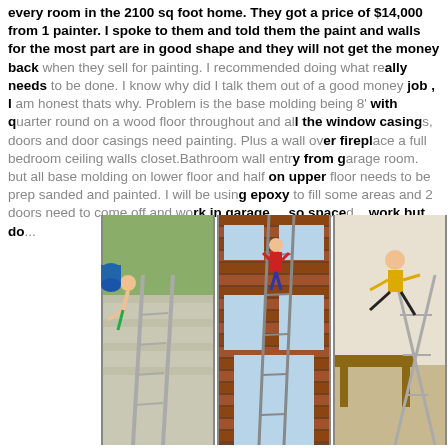every room in the 2100 sq foot home. They got a price of $14,000 from 1 painter. I spoke to them and told them the paint and walls for the most part are in good shape and they will not get the money back when they sell for painting. I recommended doing what really needs to be done. I know why did I talk them out of a good money job , I am honest thats why. Problem is the base molding being 8' with quarter round on a wood floor throughout and all the window casings, doors and door casings need painting. Plus a wall over fireplace a full bedroom ceiling walls closet.Bathroom wall entry from garage room. but all base molding on lower floor and half on upper floor needs to be prep sanded and painted. I will be using epoxy to fill some areas and 2 doors need to come off and work in garage... so spaced... work but do...
[Figure (photo): Three photos side by side showing people on ladders doing house painting work in dangerous or humorous positions.]
Once ... sure to have a... work and p... ised. Find o... well as the... painting pros will use quality brands like BEHR or Sherwin Williams. The contract should also spell out the time frame to complete the project and as well as set up clean up details. Broomfield House Painting
In this article, we discuss all the painting estimates. If you want to